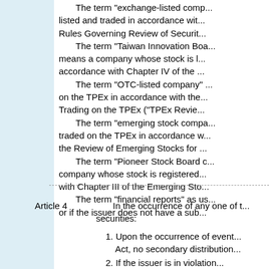The term "exchange-listed comp... listed and traded in accordance with Rules Governing Review of Securit...
The term "Taiwan Innovation Boa... means a company whose stock is listed in accordance with Chapter IV of the ...
The term "OTC-listed company" ... on the TPEx in accordance with the ... Trading on the TPEx ("TPEx Revie...
The term "emerging stock compa... traded on the TPEx in accordance with the Review of Emerging Stocks for ...
The term "Pioneer Stock Board c... company whose stock is registered with Chapter III of the Emerging Sto...
The term "financial reports" as us... or if the issuer does not have a sub...
Article 4	In the occurrence of any one of the securities:
1. Upon the occurrence of event... Act, no secondary distribution...
2. If the issuer is in violation...